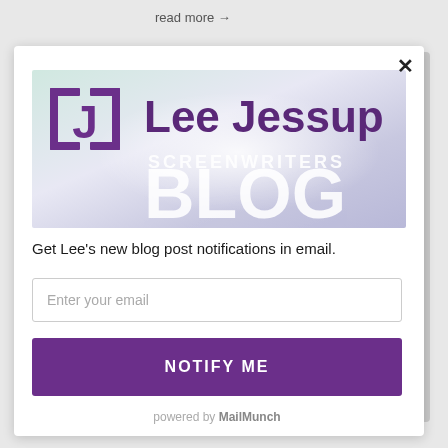read more →
[Figure (logo): Lee Jessup Screenwriters Blog banner with purple J logo and gradient background]
Get Lee's new blog post notifications in email.
Enter your email
NOTIFY ME
powered by MailMunch